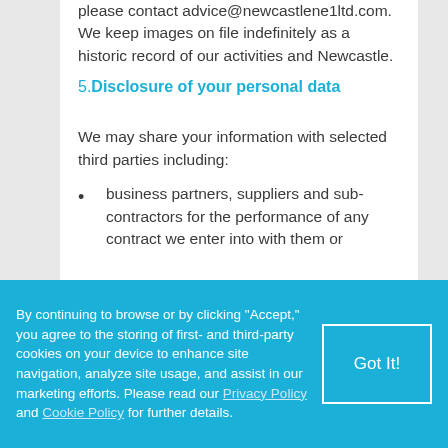please contact advice@newcastlene1ltd.com. We keep images on file indefinitely as a historic record of our activities and Newcastle.
5. Disclosure of your personal data
We may share your information with selected third parties including:
business partners, suppliers and sub-contractors for the performance of any contract we enter into with them or
By continuing to browse or by clicking "Accept," you agree to the storing of first- and third-party cookies on your device to enhance site navigation, analyze site usage, and assist in our marketing efforts. Please read our Privacy Policy and Cookie Policy for further details.